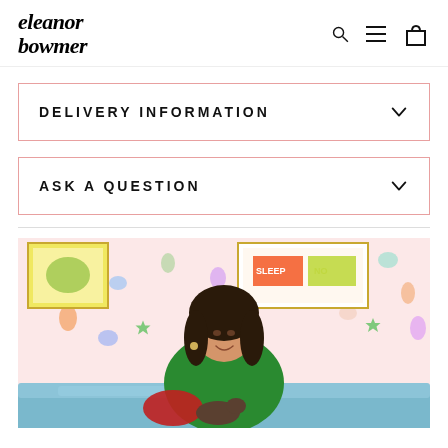eleanor bowmer
DELIVERY INFORMATION
ASK A QUESTION
[Figure (photo): Woman with dark hair wearing a green floral blouse sitting on a light blue couch, smiling and looking down, against a colorful seashell-patterned wallpaper background with framed art prints.]